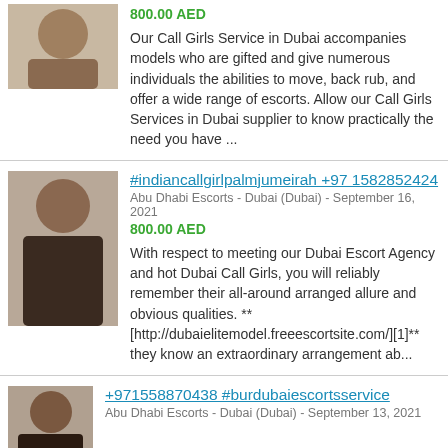[Figure (photo): Thumbnail photo of a woman at top listing]
800.00 AED
Our Call Girls Service in Dubai accompanies models who are gifted and give numerous individuals the abilities to move, back rub, and offer a wide range of escorts. Allow our Call Girls Services in Dubai supplier to know practically the need you have ...
[Figure (photo): Thumbnail photo of a woman for second listing]
#indiancallgirlpalmjumeirah +97 1582852424
Abu Dhabi Escorts - Dubai (Dubai) - September 16, 2021
800.00 AED
With respect to meeting our Dubai Escort Agency and hot Dubai Call Girls, you will reliably remember their all-around arranged allure and obvious qualities. ** [http://dubaielitemodel.freeescortsite.com/][1]** they know an extraordinary arrangement ab...
[Figure (photo): Thumbnail photo of a woman for third listing]
+971558870438 #burdubaiescortsservice
Abu Dhabi Escorts - Dubai (Dubai) - September 13, 2021